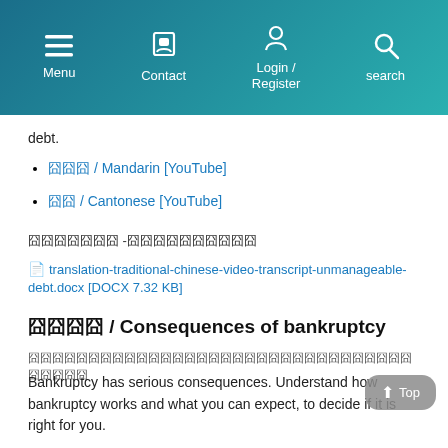Menu | Contact | Login / Register | search
debt.
囧囧囧 / Mandarin [YouTube]
囧囧 / Cantonese [YouTube]
囧囧囧囧囧囧囧 -囧囧囧囧囧囧囧囧囧囧
📄 translation-traditional-chinese-video-transcript-unmanageable-debt.docx [DOCX 7.32 KB]
囧囧囧囧 / Consequences of bankruptcy
囧囧囧囧囧囧囧囧囧囧囧囧囧囧囧囧囧囧囧囧囧囧囧囧囧囧囧囧囧囧囧囧囧囧囧囧囧
Bankruptcy has serious consequences. Understand how bankruptcy works and what you can expect, to decide if it is right for you.